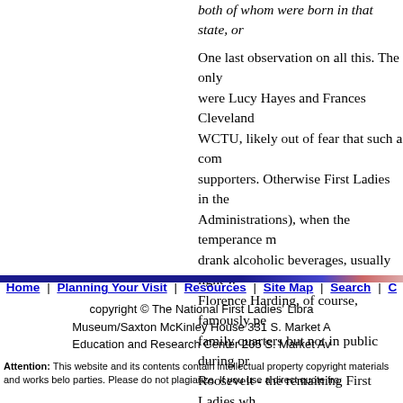both of whom were born in that state, or
One last observation on all this. The only were Lucy Hayes and Frances Cleveland WCTU, likely out of fear that such a comm supporters. Otherwise First Ladies in the Administrations), when the temperance m drank alcoholic beverages, usually light w Florence Harding, of course, famously pe family quarters but not in public during pr Roosevelt - the remaining First Ladies wh However, the WCTU was a powerful forc the First Ladies often greeted the group's receptions. Finally, there were other caus not relate to alcohol but various charities Frances Cleveland supported at least one to the national WCTU demand, made at c First Lady stop wearing low-cut and sleev influence on young women of the day.
Home | Planning Your Visit | Resources | Site Map | Search | C
copyright © The National First Ladies' Libra Museum/Saxton McKinley House 331 S. Market A Education and Research Center 205 S. Market Av
Attention: This website and its contents contain intellectual property copyright materials and works belo parties. Please do not plagiarize. If you use a direct quote fro